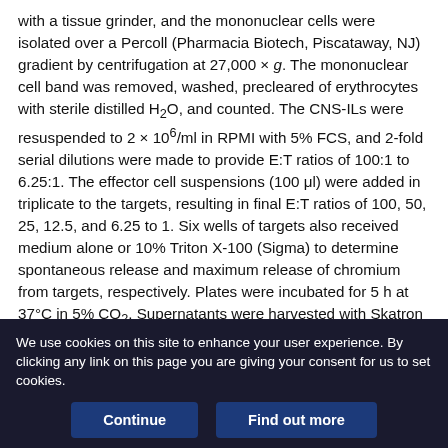with a tissue grinder, and the mononuclear cells were isolated over a Percoll (Pharmacia Biotech, Piscataway, NJ) gradient by centrifugation at 27,000 × g. The mononuclear cell band was removed, washed, precleared of erythrocytes with sterile distilled H₂O, and counted. The CNS-ILs were resuspended to 2 × 10⁶/ml in RPMI with 5% FCS, and 2-fold serial dilutions were made to provide E:T ratios of 100:1 to 6.25:1. The effector cell suspensions (100 μl) were added in triplicate to the targets, resulting in final E:T ratios of 100, 50, 25, 12.5, and 6.25 to 1. Six wells of targets also received medium alone or 10% Triton X-100 (Sigma) to determine spontaneous release and maximum release of chromium from targets, respectively. Plates were incubated for 5 h at 37°C in 5% CO₂. Supernatants were harvested with Skatron Supernatant
We use cookies on this site to enhance your user experience. By clicking any link on this page you are giving your consent for us to set cookies.